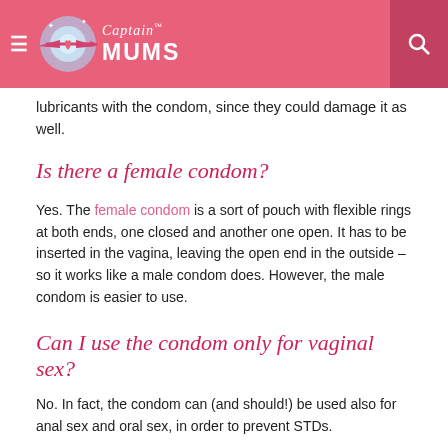Captain MUMS
lubricants with the condom, since they could damage it as well.
Is there a female condom?
Yes. The female condom is a sort of pouch with flexible rings at both ends, one closed and another one open. It has to be inserted in the vagina, leaving the open end in the outside – so it works like a male condom does. However, the male condom is easier to use.
Can I use the condom only for vaginal sex?
No. In fact, the condom can (and should!) be used also for anal sex and oral sex, in order to prevent STDs.